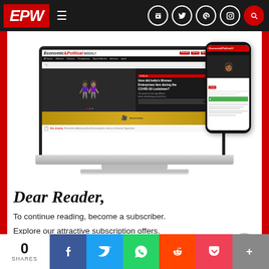[Figure (screenshot): EPW website screenshot showing Economic & Political Weekly homepage displayed on a laptop and mobile phone mockup]
Dear Reader,
To continue reading, become a subscriber.
Explore our attractive subscription offers.
[Figure (screenshot): CLICK HERE button (red CTA button, partially visible)]
[Figure (infographic): Social share bar at bottom: 0 SHARES, Facebook, Twitter, WhatsApp, Reddit, Pocket, More buttons]